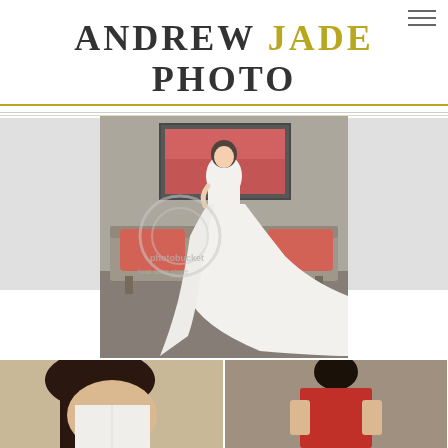[Figure (logo): Andrew Jade Photo logo — 'ANDREW' and 'PHOTO' in dark gray serif, 'JADE' in gold/olive serif, all caps, with gold underline beneath]
[Figure (photo): Bride in a white strapless mermaid wedding gown with long train, standing in a hotel room with a gray couch with red cushions and abstract red framed art on wall. Photobucket watermark overlay visible.]
[Figure (photo): Two partially visible photos at bottom: left shows close-up of bride's back/hair, right shows a person in red clothing, both cropped.]